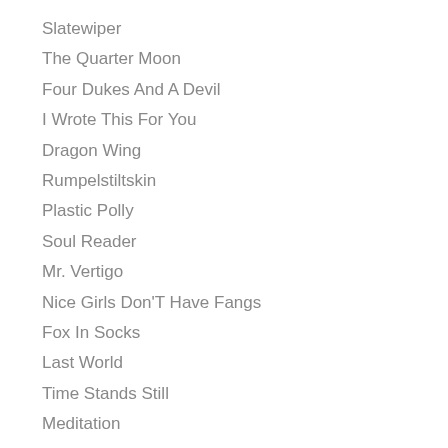Slatewiper
The Quarter Moon
Four Dukes And A Devil
I Wrote This For You
Dragon Wing
Rumpelstiltskin
Plastic Polly
Soul Reader
Mr. Vertigo
Nice Girls Don'T Have Fangs
Fox In Socks
Last World
Time Stands Still
Meditation